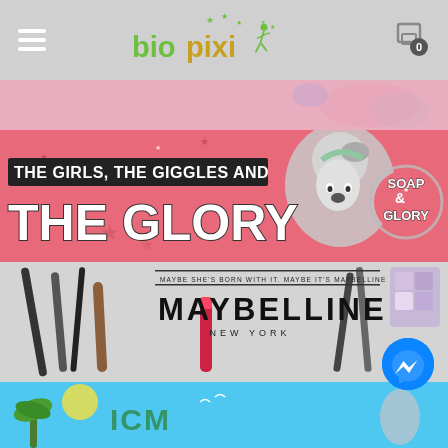[Figure (screenshot): biopixi website header with hamburger menu, biopixi logo in green and gold, and shopping cart icon with 0 count]
[Figure (photo): Partial pink banner showing bottom portion of a beauty product promotional image]
[Figure (illustration): Soap & Glory promotional banner with pink background, text 'THE GIRLS, THE GIGGLES AND THE GLORY' in bold Impact font with a retro-style woman and Soap & Glory circular logo]
[Figure (photo): Maybelline New York promotional banner showing makeup brushes, lipstick, and cosmetics with 'MAYBE SHE'S BORN WITH IT MAYBE IT'S MAYBELLINE' tagline and MAYBELLINE NEW YORK logo]
[Figure (illustration): Bottom banner in blue/teal color with tropical theme, partially visible text]
[Figure (illustration): Facebook Messenger floating button, blue circle with messenger lightning bolt icon]